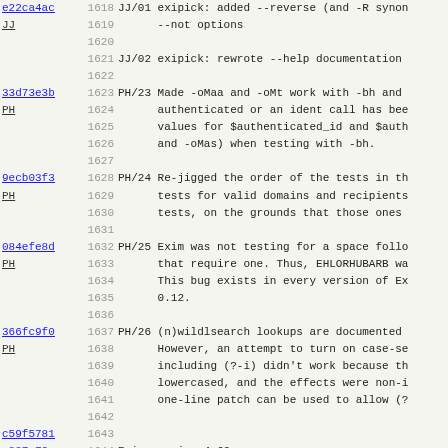| hash | line | code | description |
| --- | --- | --- | --- |
| e22ca4ac | 1618 | JJ/01 | exipick: added --reverse (and -R synon |
| JJ | 1619 |  | --not options |
|  | 1620 |  |  |
|  | 1621 | JJ/02 | exipick: rewrote --help documentation |
|  | 1622 |  |  |
| 33d73e3b | 1623 | PH/23 | Made -oMaa and -oMt work with -bh and |
| PH | 1624 |  | authenticated or an ident call has bee |
|  | 1625 |  | values for $authenticated_id and $auth |
|  | 1626 |  | and -oMas) when testing with -bh. |
|  | 1627 |  |  |
| 9ecb03f3 | 1628 | PH/24 | Re-jigged the order of the tests in th |
| PH | 1629 |  | tests for valid domains and recipients |
|  | 1630 |  | tests, on the grounds that those ones |
|  | 1631 |  |  |
| 084efe8d | 1632 | PH/25 | Exim was not testing for a space follo |
| PH | 1633 |  | that require one. Thus, EHLORHUBARB wa |
|  | 1634 |  | This bug exists in every version of Ex |
|  | 1635 |  | 0.12. |
|  | 1636 |  |  |
| 366fc9f0 | 1637 | PH/26 | (n)wildlsearch lookups are documented |
| PH | 1638 |  | However, an attempt to turn on case-se |
|  | 1639 |  | including (?-i) didn't work because th |
|  | 1640 |  | lowercased, and the effects were non-i |
|  | 1641 |  | one-line patch can be used to allow (? |
|  | 1642 |  |  |
| c59f5781 | 1643 |  |  |
| c887c79e | 1644 |  | Exim version 4.62 |
| TF | 1645 |  | ------------------ |
|  | 1646 |  |  |
|  | 1647 | TF/01 | Fix the add_header change below (4.61 |
|  | 1648 |  | other effects) broke the use of negate |
|  | 1649 |  |  |
| 1aee3ef0 | 1650 | PH/01 | $[readsocket now supports Internet dom |